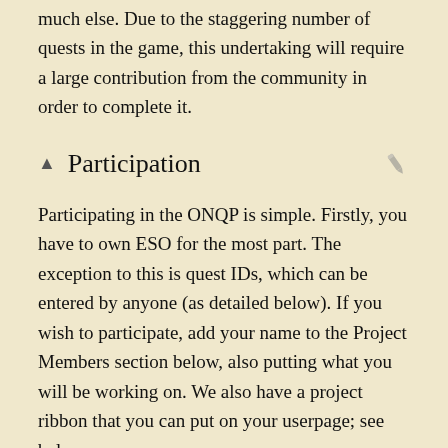much else. Due to the staggering number of quests in the game, this undertaking will require a large contribution from the community in order to complete it.
Participation
Participating in the ONQP is simple. Firstly, you have to own ESO for the most part. The exception to this is quest IDs, which can be entered by anyone (as detailed below). If you wish to participate, add your name to the Project Members section below, also putting what you will be working on. We also have a project ribbon that you can put on your userpage; see below.
There are three different parts of the project:
Quick Summary: Writing the header and quick walkthrough for pages, as well as the footer if needed